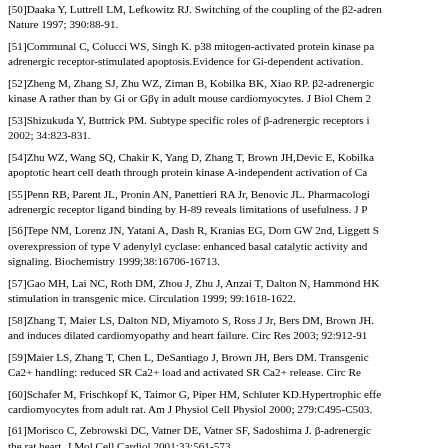[50]Daaka Y, Luttrell LM, Lefkowitz RJ. Switching of the coupling of the β2-adren... Nature 1997; 390:88-91.
[51]Communal C, Colucci WS, Singh K. p38 mitogen-activated protein kinase pa... adrenergic receptor-stimulated apoptosis.Evidence for Gi-dependent activation.
[52]Zheng M, Zhang SJ, Zhu WZ, Ziman B, Kobilka BK, Xiao RP. β2-adrenergic... kinase A rather than by Gi or Gβγ in adult mouse cardiomyocytes. J Biol Chem 2...
[53]Shizukuda Y, Buttrick PM. Subtype specific roles of β-adrenergic receptors i... 2002; 34:823-831.
[54]Zhu WZ, Wang SQ, Chakir K, Yang D, Zhang T, Brown JH,Devic E, Kobilka... apoptotic heart cell death through protein kinase A-independent activation of Ca...
[55]Penn RB, Parent JL, Pronin AN, Panettieri RA Jr, Benovic JL. Pharmacologi... adrenergic receptor ligand binding by H-89 reveals limitations of usefulness. J P...
[56]Tepe NM, Lorenz JN, Yatani A, Dash R, Kranias EG, Dorn GW 2nd, Liggett S... overexpression of type V adenylyl cyclase: enhanced basal catalytic activity and... signaling. Biochemistry 1999;38:16706-16713.
[57]Gao MH, Lai NC, Roth DM, Zhou J, Zhu J, Anzai T, Dalton N, Hammond HK... stimulation in transgenic mice. Circulation 1999; 99:1618-1622.
[58]Zhang T, Maier LS, Dalton ND, Miyamoto S, Ross J Jr, Bers DM, Brown JH.... and induces dilated cardiomyopathy and heart failure. Circ Res 2003; 92:912-91...
[59]Maier LS, Zhang T, Chen L, DeSantiago J, Brown JH, Bers DM. Transgenic... Ca2+ handling: reduced SR Ca2+ load and activated SR Ca2+ release. Circ Re...
[60]Schafer M, Frischkopf K, Taimor G, Piper HM, Schluter KD.Hypertrophic effe... cardiomyocytes from adult rat. Am J Physiol Cell Physiol 2000; 279:C495-C503.
[61]Morisco C, Zebrowski DC, Vatner DE, Vatner SF, Sadoshima J. β-adrenergic... the rat heart. J Mol Cell Cardiol 2001;33:561-573.